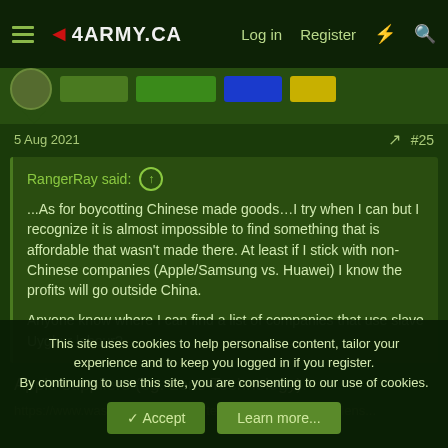4ARMY.CA   Log in   Register
5 Aug 2021   #25
RangerRay said: ↑

...As for boycotting Chinese made goods…I try when I can but I recognize it is almost impossible to find something that is affordable that wasn't made there. At least if I stick with non-Chinese companies (Apple/Samsung vs. Huawei) I know the profits will go outside China.

Anyone know where I can find a list of companies that use slave Uyghur labour?
Apple suppliers (eg. Lens Technology).
https://www.washingtonpost.com/technology/2020/12/29/lens...
This site uses cookies to help personalise content, tailor your experience and to keep you logged in if you register.
By continuing to use this site, you are consenting to our use of cookies.